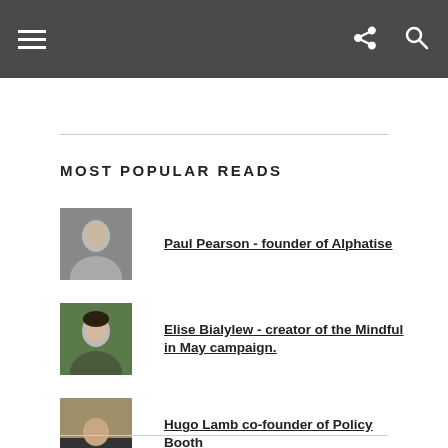Navigation bar with menu, share, and search icons
MOST POPULAR READS
Paul Pearson - founder of Alphatise
Elise Bialylew - creator of the Mindful in May campaign.
Hugo Lamb co-founder of Policy Booth
Ariel Hersh, co-founder of Fruit2Work